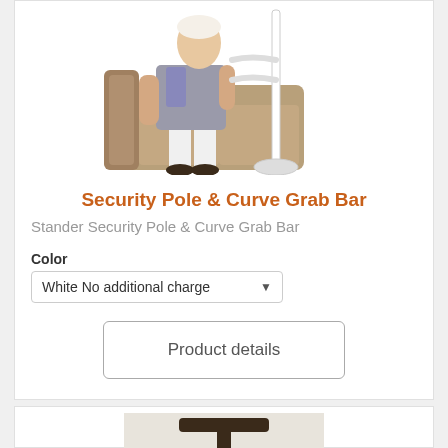[Figure (photo): Elderly woman sitting on a couch, using a white floor-to-ceiling security pole with curve grab bar for support]
Security Pole & Curve Grab Bar
Stander Security Pole & Curve Grab Bar
Color
White No additional charge
Product details
[Figure (photo): Close-up photo of a T-shaped grab bar handle, dark colored, mounted against a light wall]